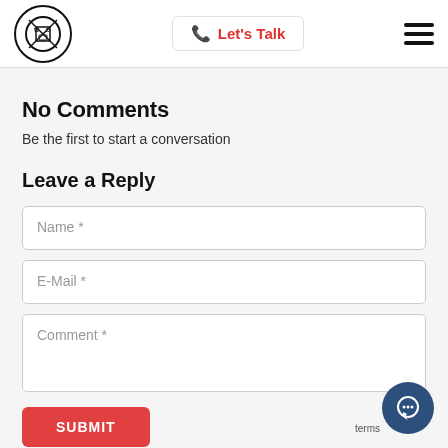WOD Logo | Let's Talk | Menu
No Comments
Be the first to start a conversation
Leave a Reply
Name *
E-Mail *
Comment *
SUBMIT